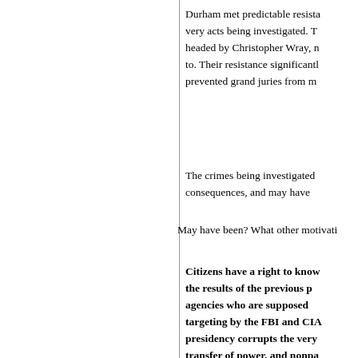Durham met predictable resistance from the very acts being investigated. The FBI, now headed by Christopher Wray, refused to comply to. Their resistance significantly hampered and prevented grand juries from meeting.
The crimes being investigated had severe consequences, and may have
May have been? What other motivati
Citizens have a right to know the results of the previous p agencies who are supposed targeting by the FBI and CIA presidency corrupts the very transfer of power, and nonpa Americans must know who d
How can citizens acquire the i can they find out what senior o political opponents and cover i
There aren't many options. The demanding: Executive branch few redactions as possible. His